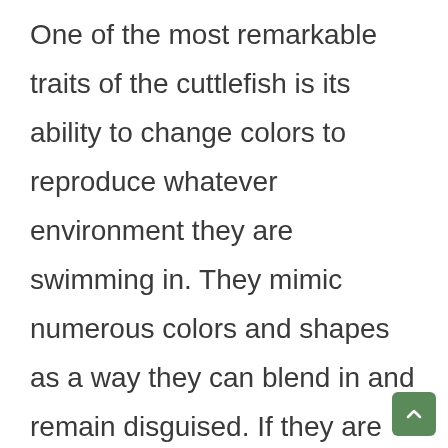One of the most remarkable traits of the cuttlefish is its ability to change colors to reproduce whatever environment they are swimming in. They mimic numerous colors and shapes as a way they can blend in and remain disguised. If they are frightened or attacked, they emit a dark jet of ink into the water. The ink doesn't diffuse immediately and tends to take the shape of an object, ultimately fooling its predator as the cuttlefish changes its ow...